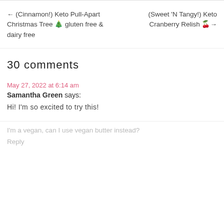← (Cinnamon!) Keto Pull-Apart Christmas Tree 🎄 gluten free & dairy free
(Sweet 'N Tangy!) Keto Cranberry Relish 🍒→
30 comments
May 27, 2022 at 6:14 am
Samantha Green says:
Hi! I'm so excited to try this!
I'm a vegan, can I use vegan butter instead?
Reply